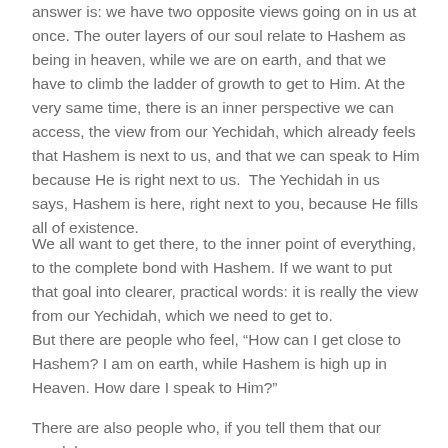answer is: we have two opposite views going on in us at once. The outer layers of our soul relate to Hashem as being in heaven, while we are on earth, and that we have to climb the ladder of growth to get to Him. At the very same time, there is an inner perspective we can access, the view from our Yechidah, which already feels that Hashem is next to us, and that we can speak to Him because He is right next to us.  The Yechidah in us says, Hashem is here, right next to you, because He fills all of existence.
We all want to get there, to the inner point of everything, to the complete bond with Hashem. If we want to put that goal into clearer, practical words: it is really the view from our Yechidah, which we need to get to.
But there are people who feel, “How can I get close to Hashem? I am on earth, while Hashem is high up in Heaven. How dare I speak to Him?”
There are also people who, if you tell them that our avodah